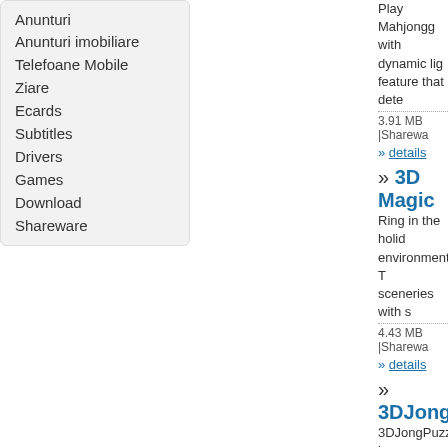Anunturi
Anunturi imobiliare
Telefoane Mobile
Ziare
Ecards
Subtitles
Drivers
Games
Download
Shareware
Play Mahjongg ... with dynamic lig... feature that dete...
3.91 MB |Sharewa...
» details
» 3D Magic
Ring in the holid... environments. T... sceneries with s...
4.43 MB |Sharewa...
» details
» 3DJongPu...
3DJongPuzzle is... very easy to lear... from the gam
1.63 MB |Sharewa...
» details
» 9Squares
The 9Squares is... you can by matc... and they will be ...
1.21 MB |Sharewa...